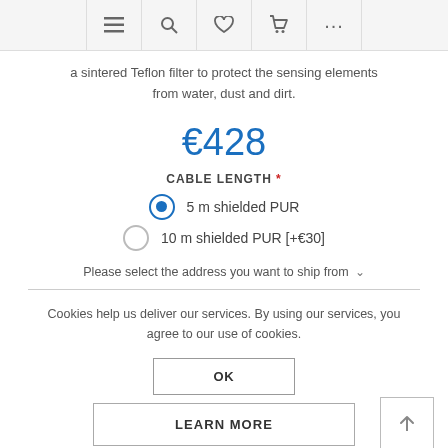Navigation bar with menu, search, wishlist, cart, and more icons
a sintered Teflon filter to protect the sensing elements from water, dust and dirt.
€428
CABLE LENGTH *
5 m shielded PUR (selected)
10 m shielded PUR [+€30]
Please select the address you want to ship from
Cookies help us deliver our services. By using our services, you agree to our use of cookies.
OK
LEARN MORE